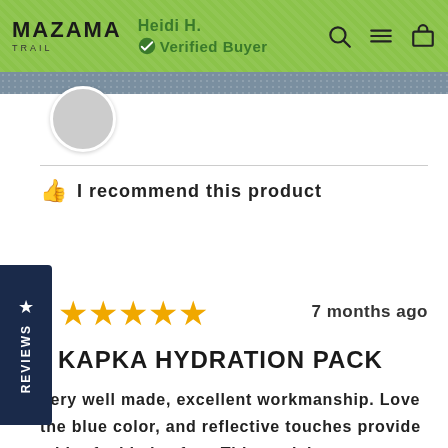Heidi H. — Verified Buyer
I recommend this product
★★★★★   7 months ago
KAPKA HYDRATION PACK
Very well made, excellent workmanship. Love the blue color, and reflective touches provide a bit of added safety. This pack has an amazing amount of storage space and organization for this type of product! The "open top" adjustable outer layer is large enough to hold a light jacket or other clothing items, and adjustable straps keep the pack and